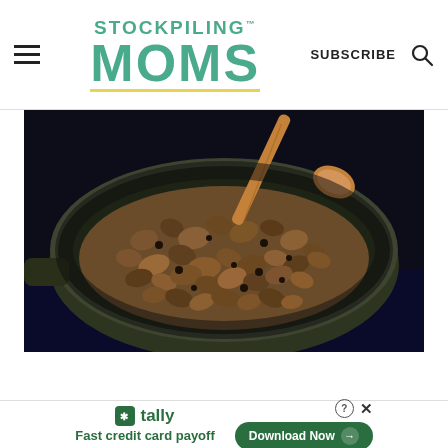STOCKPILING MOMS - SUBSCRIBE
[Figure (photo): A dark skillet or pan on a stovetop containing cooked ground meat (browned ground beef) being stirred with a wooden spoon, viewed from above. Dark background.]
tally Fast credit card payoff Download Now →